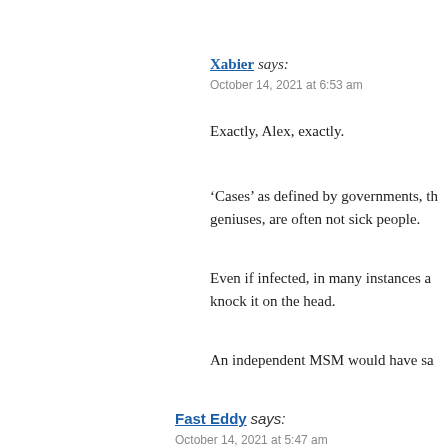Xabier says:
October 14, 2021 at 6:53 am
Exactly, Alex, exactly.
'Cases' as defined by governments, th... geniuses, are often not sick people.
Even if infected, in many instances a... knock it on the head.
An independent MSM would have sa...
Fast Eddy says:
October 14, 2021 at 5:47 am